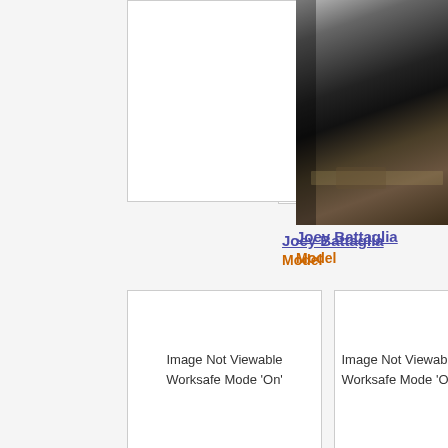[Figure (photo): Partially visible photo of a person (Joey Battaglia) on the right side, showing torso area with dark clothing and belt]
[Figure (photo): White box placeholder for image hidden due to Worksafe Mode On]
Joey Battaglia
Model
[Figure (photo): White box placeholder for image hidden due to Worksafe Mode On]
[Figure (photo): White box placeholder for image hidden due to Worksafe Mode On]